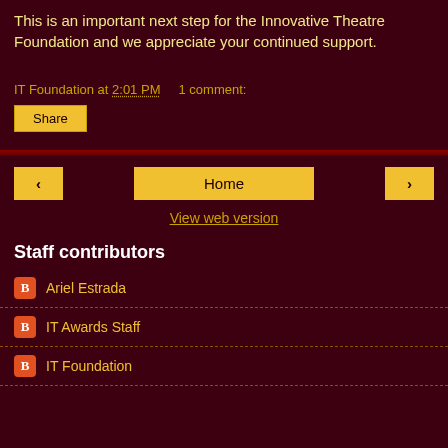This is an important next step for the Innovative Theatre Foundation and we appreciate your continued support.
IT Foundation at 2:01 PM   1 comment:
Share
Home
View web version
Staff contributors
Ariel Estrada
IT Awards Staff
IT Foundation